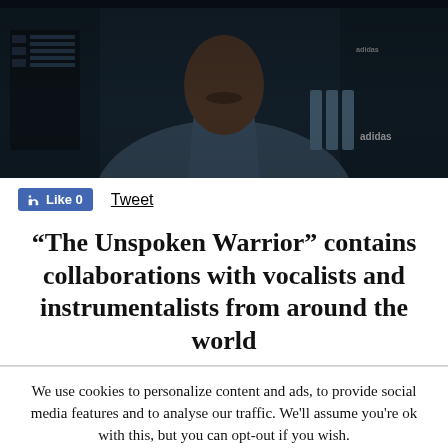[Figure (photo): Photo of a person wearing an Adidas track jacket in a dark studio environment]
Like 0   Tweet
“The Unspoken Warrior” contains collaborations with vocalists and instrumentalists from around the world
We use cookies to personalize content and ads, to provide social media features and to analyse our traffic. We'll assume you're ok with this, but you can opt-out if you wish.  Accept  Reject  Read More